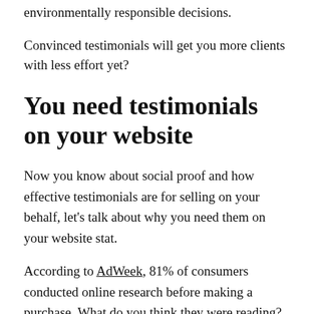environmentally responsible decisions.
Convinced testimonials will get you more clients with less effort yet?
You need testimonials on your website
Now you know about social proof and how effective testimonials are for selling on your behalf, let's talk about why you need them on your website stat.
According to AdWeek, 81% of consumers conducted online research before making a purchase. What do you think they were reading? For 61%, it was testimonials.